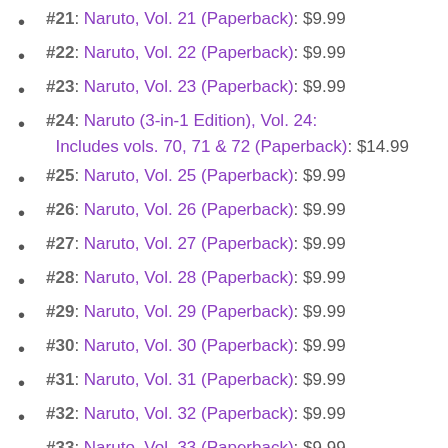#21: Naruto, Vol. 21 (Paperback): $9.99
#22: Naruto, Vol. 22 (Paperback): $9.99
#23: Naruto, Vol. 23 (Paperback): $9.99
#24: Naruto (3-in-1 Edition), Vol. 24: Includes vols. 70, 71 & 72 (Paperback): $14.99
#25: Naruto, Vol. 25 (Paperback): $9.99
#26: Naruto, Vol. 26 (Paperback): $9.99
#27: Naruto, Vol. 27 (Paperback): $9.99
#28: Naruto, Vol. 28 (Paperback): $9.99
#29: Naruto, Vol. 29 (Paperback): $9.99
#30: Naruto, Vol. 30 (Paperback): $9.99
#31: Naruto, Vol. 31 (Paperback): $9.99
#32: Naruto, Vol. 32 (Paperback): $9.99
#33: Naruto, Vol. 33 (Paperback): $9.99
#34: Naruto, Vol. 34 (Paperback): $9.99
#35: Naruto, Vol. 35 (Paperback): $9.99